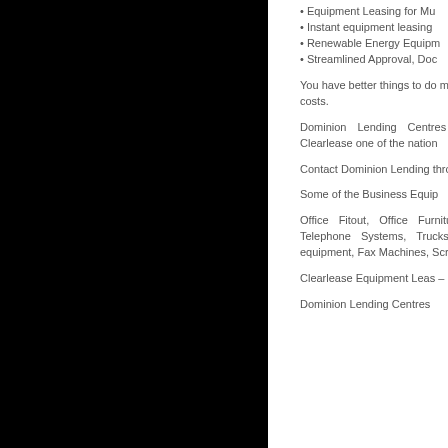[Figure (photo): Large black rectangular image occupying the left portion of the page]
• Equipment Leasing for Mu
• Instant equipment leasing
• Renewable Energy Equipm
• Streamlined Approval, Doc
You have better things to do more than 80% of all US bu pocket costs.
Dominion Lending Centres industry expertise combined Clearlease one of the nation
Contact Dominion Lending through the financing proces
Some of the Business Equip
Office Fitout, Office Furnitu Printers, Retail Fitout, RFI Telephone Systems, Trucks Boats, Buses, Cars, Cateri equipment, Fax Machines, Screens, Massage Tables &
Clearlease Equipment Leas – Dominion Lending Centres
Dominion Lending Centres